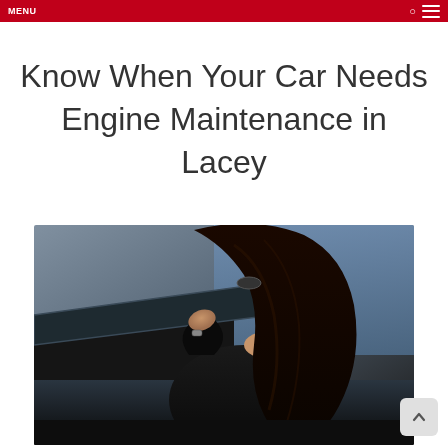MENU
Know When Your Car Needs Engine Maintenance in Lacey
[Figure (photo): A woman with long dark hair, viewed from behind, standing in front of a car with an open hood, looking at the engine. She is wearing a black jacket and a watch. The background shows a blurred outdoor scene.]